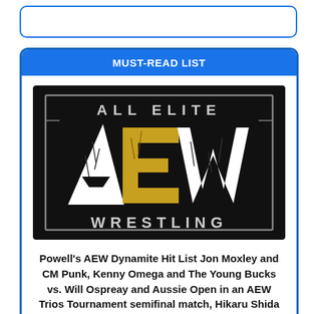[Figure (other): Search bar input field with blue rounded border]
MUST-READ LIST
[Figure (logo): All Elite Wrestling (AEW) logo on black background with white cracked text AEW and gold E letter, text reads ALL ELITE WRESTLING]
Powell's AEW Dynamite Hit List Jon Moxley and CM Punk, Kenny Omega and The Young Bucks vs. Will Ospreay and Aussie Open in an AEW Trios Tournament semifinal match, Hikaru Shida and Toni